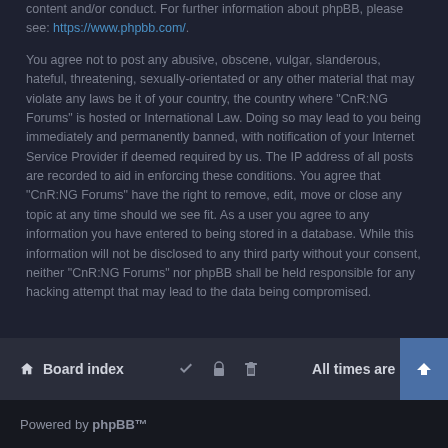content and/or conduct. For further information about phpBB, please see: https://www.phpbb.com/.
You agree not to post any abusive, obscene, vulgar, slanderous, hateful, threatening, sexually-orientated or any other material that may violate any laws be it of your country, the country where "CnR:NG Forums" is hosted or International Law. Doing so may lead to you being immediately and permanently banned, with notification of your Internet Service Provider if deemed required by us. The IP address of all posts are recorded to aid in enforcing these conditions. You agree that "CnR:NG Forums" have the right to remove, edit, move or close any topic at any time should we see fit. As a user you agree to any information you have entered to being stored in a database. While this information will not be disclosed to any third party without your consent, neither "CnR:NG Forums" nor phpBB shall be held responsible for any hacking attempt that may lead to the data being compromised.
Board index   All times are UTC
Powered by phpBB™